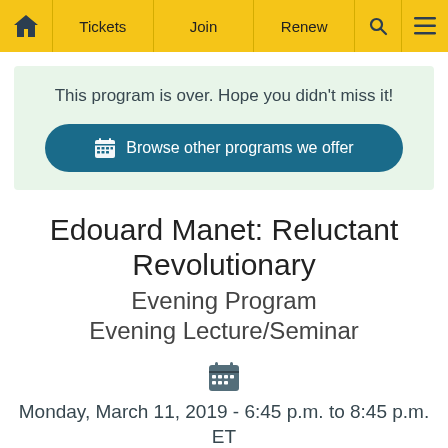Home | Tickets | Join | Renew | Search | Menu
This program is over. Hope you didn't miss it!
Browse other programs we offer
Edouard Manet: Reluctant Revolutionary
Evening Program
Evening Lecture/Seminar
Monday, March 11, 2019 - 6:45 p.m. to 8:45 p.m. ET